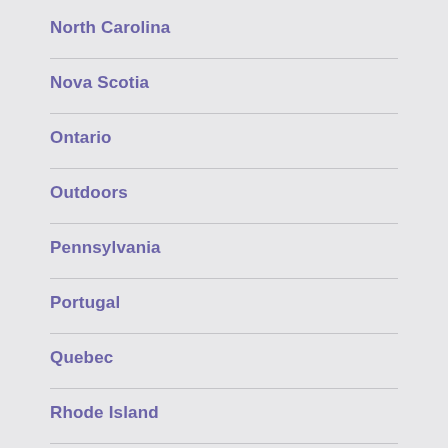North Carolina
Nova Scotia
Ontario
Outdoors
Pennsylvania
Portugal
Quebec
Rhode Island
Slovenia